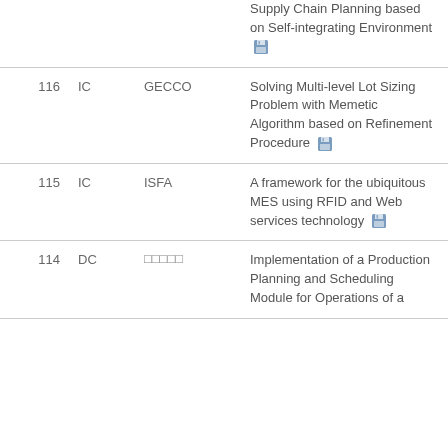| # | Type | Venue | Title | Author |
| --- | --- | --- | --- | --- |
|  |  |  | Supply Chain Planning based on Self-integrating Environment 💾 |  |
| 116 | IC | GECCO | Solving Multi-level Lot Sizing Problem with Memetic Algorithm based on Refinement Procedure 💾 | Haejoong Ki... |
| 115 | IC | ISFA | A framework for the ubiquitous MES using RFID and Web services technology 💾 | Manchul Ha... |
| 114 | DC | □□□□□ | Implementation of a Production Planning and Scheduling Module for Operations of a ... | Chankwon P... |